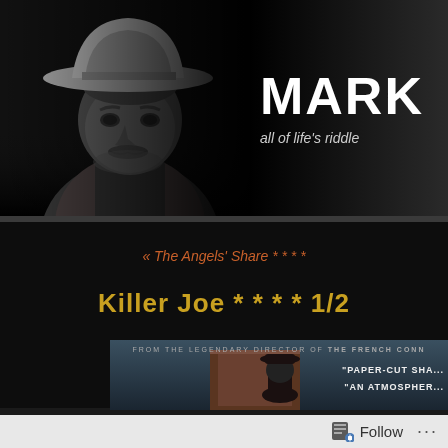[Figure (photo): Black and white photo of an older man wearing a cowboy hat, with a mustache, looking downward. Background is dark/black. To the right is large bold white text 'MARK' (partially cropped) and italic text 'all of life's riddle' (partially cropped).]
« The Angels' Share * * * *
Killer Joe * * * * 1/2
[Figure (screenshot): Movie banner/poster for Killer Joe. Dark teal/blue tones. Text reads 'FROM THE LEGENDARY DIRECTOR OF THE FRENCH CONN...' at top. Right side shows quotes: 'PAPER-CUT SHA...' and 'AN ATMOSPHER...' A figure with a hat is partially visible.]
Follow ...